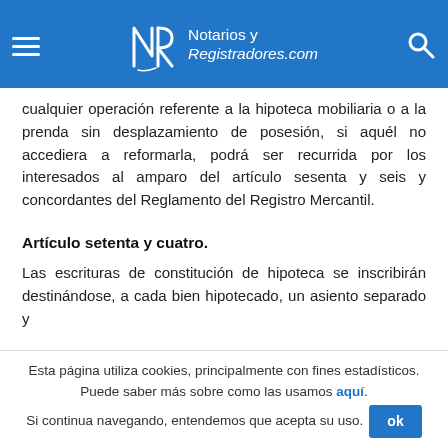Notarios y Registradores.com
cualquier operación referente a la hipoteca mobiliaria o a la prenda sin desplazamiento de posesión, si aquél no accediera a reformarla, podrá ser recurrida por los interesados al amparo del artículo sesenta y seis y concordantes del Reglamento del Registro Mercantil.
Artículo setenta y cuatro.
Las escrituras de constitución de hipoteca se inscribirán destinándose, a cada bien hipotecado, un asiento separado y ...
Esta página utiliza cookies, principalmente con fines estadísticos. Puede saber más sobre como las usamos aquí. Si continua navegando, entendemos que acepta su uso.